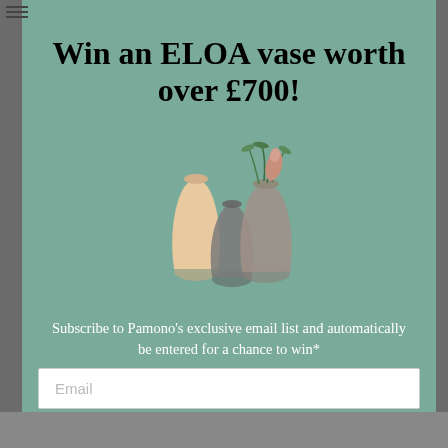Win an ELOA vase worth over £700!
[Figure (illustration): Three decorative ELOA vases of different sizes and colors (cream/peach, smoky grey, taupe-grey) with green foliage arranged inside, displayed on a teal-green background.]
Subscribe to Pamono's exclusive email list and automatically be entered for a chance to win*
Email
Enter the Giveaway
*Please read our terms and conditions here